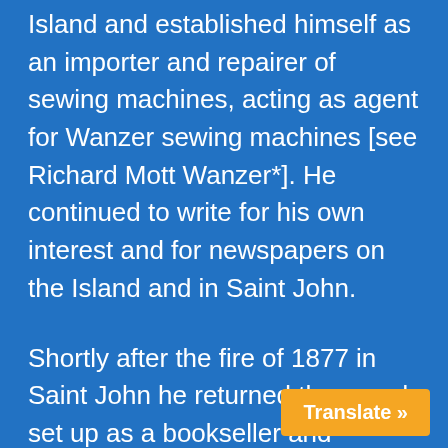Island and established himself as an importer and repairer of sewing machines, acting as agent for Wanzer sewing machines [see Richard Mott Wanzer*]. He continued to write for his own interest and for newspapers on the Island and in Saint John.
Shortly after the fire of 1877 in Saint John he returned there and set up as a bookseller and stationer on King Street. He subsequently moved to the corner of Charlotte and King streets and maintained this place of business until his death in 1904. The firm of E. G. Nelson and Co